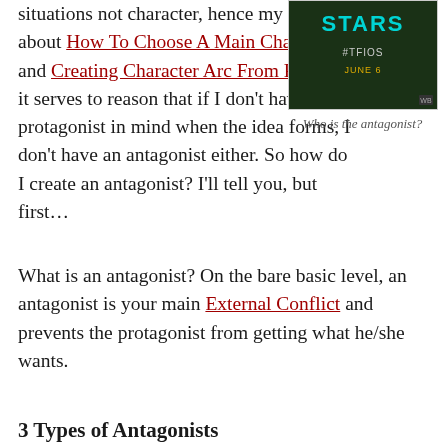situations not character, hence my posts about How To Choose A Main Character and Creating Character Arc From Plot, so it serves to reason that if I don't have a protagonist in mind when the idea forms, I don't have an antagonist either. So how do I create an antagonist? I'll tell you, but first…
[Figure (photo): Movie promotional image for 'The Fault in Our Stars' with text #TFIOS JUNE 6 on a dark green background]
Who is the antagonist?
What is an antagonist? On the bare basic level, an antagonist is your main External Conflict and prevents the protagonist from getting what he/she wants.
3 Types of Antagonists